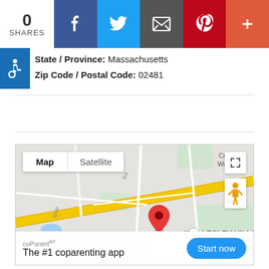[Figure (screenshot): Social share bar with 0 shares, Facebook, Twitter, Email, Pinterest, and more buttons]
State / Province: Massachusetts
Zip Code / Postal Code: 02481
[Figure (map): Google Map showing Wellesley Hills area in Massachusetts with a red location pin, Map/Satellite toggle, street view figure, and zoom controls]
[Figure (screenshot): coParentier ad banner: The #1 coparenting app with Start now button]